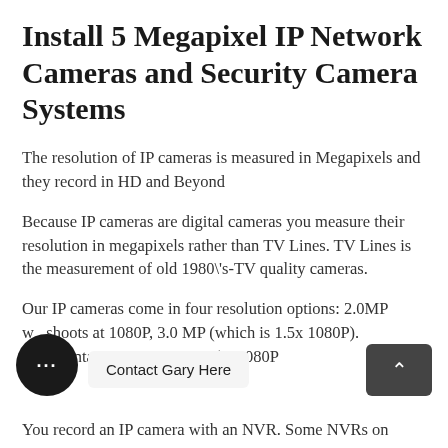Install 5 Megapixel IP Network Cameras and Security Camera Systems
The resolution of IP cameras is measured in Megapixels and they record in HD and Beyond
Because IP cameras are digital cameras you measure their resolution in megapixels rather than TV Lines. TV Lines is the measurement of old 1980\'s-TV quality cameras.
Our IP cameras come in four resolution options: 2.0MP which shoots at 1080P, 3.0 MP (which is 1.5x 1080P). ...ci  Contact Gary Here  MP (6x1080P)
You record an IP camera with an NVR. Some NVRs on